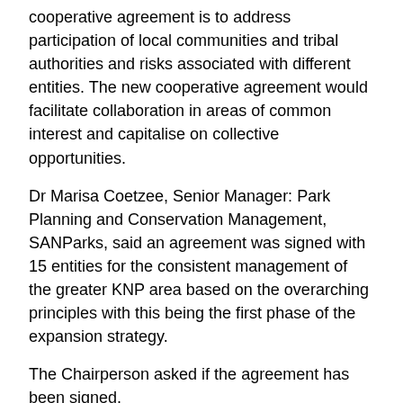cooperative agreement is to address participation of local communities and tribal authorities and risks associated with different entities. The new cooperative agreement would facilitate collaboration in areas of common interest and capitalise on collective opportunities.
Dr Marisa Coetzee, Senior Manager: Park Planning and Conservation Management, SANParks, said an agreement was signed with 15 entities for the consistent management of the greater KNP area based on the overarching principles with this being the first phase of the expansion strategy.
The Chairperson asked if the agreement has been signed.
Dr Coetzee said the agreement had been signed on 5 December 2018.
The Chairperson asked SANParks to confirm if the signing ceremony proceeded despite the reservation of the Committee and the recommendation not to proceed.
Mr Mketeni said the signing ceremony had to proceed because stakeholders were already on site and SANParks wanted to avoid the risk of embarrassment. He said he had discussions with Ms Ngcaba to access the risks being faced because all